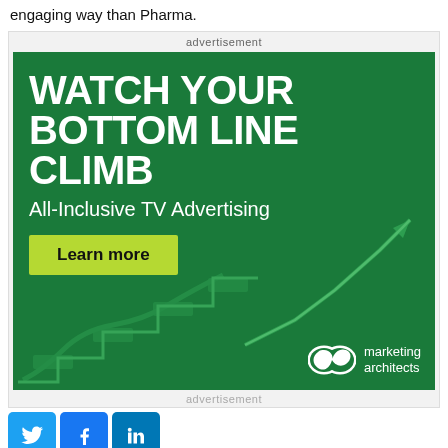engaging way than Pharma.
advertisement
[Figure (illustration): Advertisement banner for Marketing Architects showing bold white text 'WATCH YOUR BOTTOM LINE CLIMB', subtitle 'All-Inclusive TV Advertising', a yellow-green 'Learn more' button, an upward trending arrow graphic, stair-step graphic, and the Marketing Architects logo on a dark green background.]
advertisement
[Figure (logo): Social media share buttons: Twitter (blue bird), Facebook (blue f), LinkedIn (blue in)]